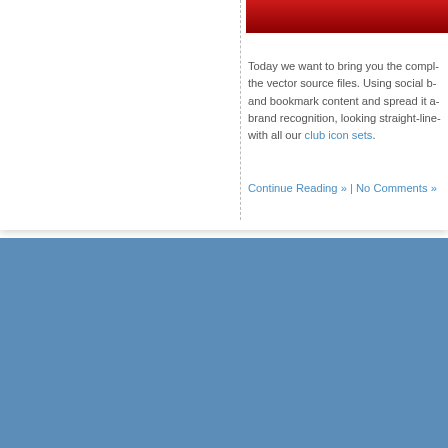[Figure (photo): Red gradient banner/image strip at top right of content card]
Today we want to bring you the compl... the vector source files. Using social b... and bookmark content and spread it a... brand recognition, looking straight-line... with all our club icon sets.
Continue Reading » | No Comments »
[Figure (logo): YOOtheme logo in white on blue footer background]
[Figure (logo): YOOtools logo in white on blue footer background]
Themes    Warp
Validates to XHTML 1.0
Copyright © 2010 YO...